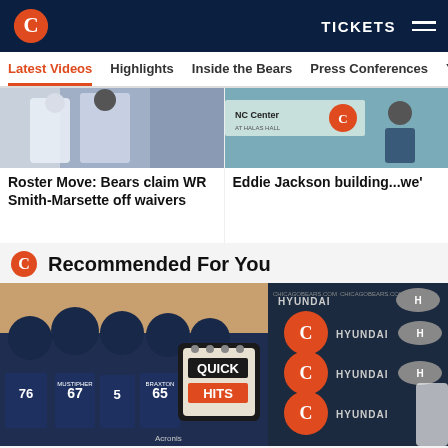Chicago Bears navigation bar with logo, TICKETS, and menu
Latest Videos | Highlights | Inside the Bears | Press Conferences | You
[Figure (photo): Chicago Bears player in white uniform, cropped action shot]
Roster Move: Bears claim WR Smith-Marsette off waivers
[Figure (photo): Eddie Jackson at NC Center press conference with Bears logo backdrop]
Eddie Jackson building...we'
Recommended For You
[Figure (photo): Chicago Bears offensive linemen huddle with Quick Hits graphic overlay, players wearing #67 MUSTIPHER and #65 BRAXTON]
[Figure (photo): HYUNDAI and Chicago Bears logo sponsor backdrop repeated pattern]